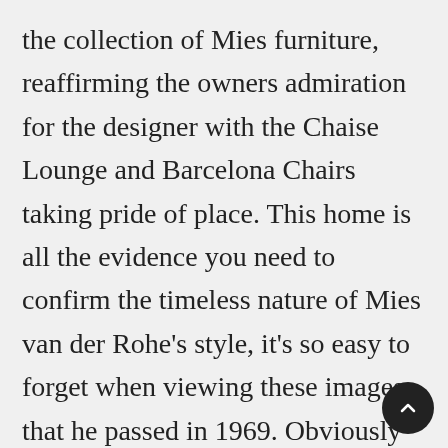the collection of Mies furniture, reaffirming the owners admiration for the designer with the Chaise Lounge and Barcelona Chairs taking pride of place. This home is all the evidence you need to confirm the timeless nature of Mies van der Rohe's style, it's so easy to forget when viewing these images that he passed in 1969. Obviously tweaks have been made here and there by the architects, which I believe consists of Govaert and Vanhoutte's firm who Tim has worked with quite a bit previously,